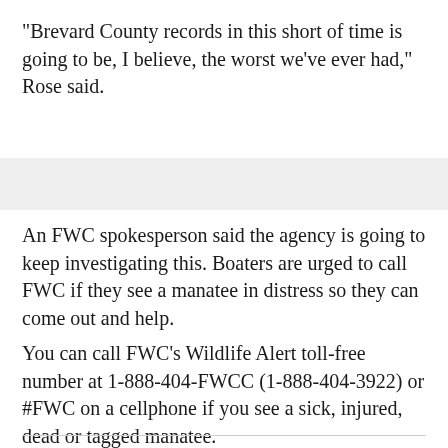"Brevard County records in this short of time is going to be, I believe, the worst we've ever had," Rose said.
An FWC spokesperson said the agency is going to keep investigating this. Boaters are urged to call FWC if they see a manatee in distress so they can come out and help.
You can call FWC's Wildlife Alert toll-free number at 1-888-404-FWCC (1-888-404-3922) or #FWC on a cellphone if you see a sick, injured, dead or tagged manatee.